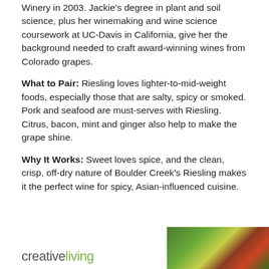Winery in 2003. Jackie's degree in plant and soil science, plus her winemaking and wine science coursework at UC-Davis in California, give her the background needed to craft award-winning wines from Colorado grapes.
What to Pair: Riesling loves lighter-to-mid-weight foods, especially those that are salty, spicy or smoked. Pork and seafood are must-serves with Riesling. Citrus, bacon, mint and ginger also help to make the grape shine.
Why It Works: Sweet loves spice, and the clean, crisp, off-dry nature of Boulder Creek's Riesling makes it the perfect wine for spicy, Asian-influenced cuisine.
[Figure (logo): creativeliving logo text with a photo of herbs/greens on the right]